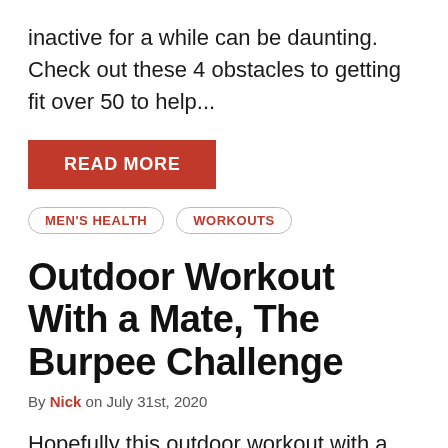inactive for a while can be daunting. Check out these 4 obstacles to getting fit over 50 to help...
READ MORE
MEN'S HEALTH   WORKOUTS
Outdoor Workout With a Mate, The Burpee Challenge
By Nick on July 31st, 2020
Hopefully this outdoor workout with a mate